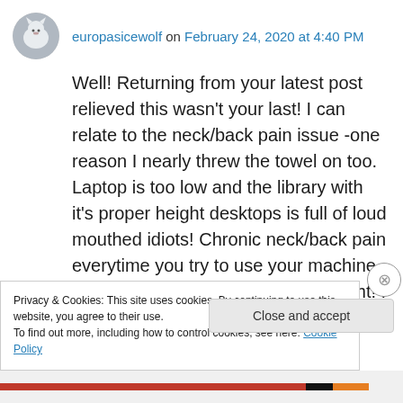europasicewolf on February 24, 2020 at 4:40 PM
Well! Returning from your latest post relieved this wasn't your last! I can relate to the neck/back pain issue -one reason I nearly threw the towel on too. Laptop is too low and the library with it's proper height desktops is full of loud mouthed idiots! Chronic neck/back pain everytime you try to use your machine is no life for anyone. And the eyesight! I need glasses for distance but have to take them off for computer
Privacy & Cookies: This site uses cookies. By continuing to use this website, you agree to their use.
To find out more, including how to control cookies, see here: Cookie Policy
Close and accept